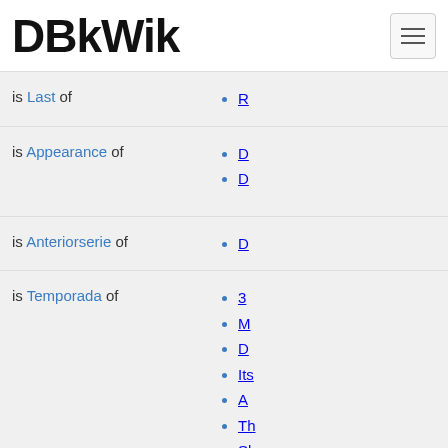DBkWik
is Last of
R…
is Appearance of
D…
D…
is Anteriorserie of
D…
is Temporada of
3…
M…
D…
Its…
A…
Th…
Sl…
M…
D…
"H…
Fl…